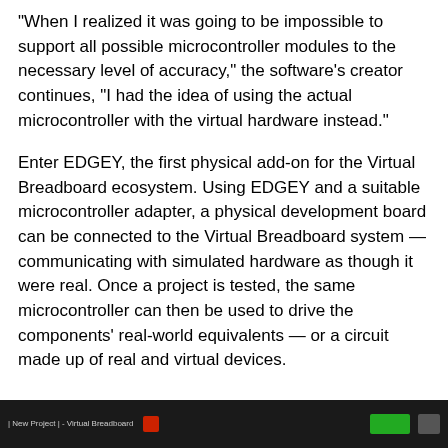"When I realized it was going to be impossible to support all possible microcontroller modules to the necessary level of accuracy," the software's creator continues, "I had the idea of using the actual microcontroller with the virtual hardware instead."
Enter EDGEY, the first physical add-on for the Virtual Breadboard ecosystem. Using EDGEY and a suitable microcontroller adapter, a physical development board can be connected to the Virtual Breadboard system — communicating with simulated hardware as though it were real. Once a project is tested, the same microcontroller can then be used to drive the components' real-world equivalents — or a circuit made up of real and virtual devices.
[Figure (screenshot): A dark taskbar/window bar at the bottom of the page showing 'New Project - Virtual Breadboard' with a red icon, green button, and gray button.]